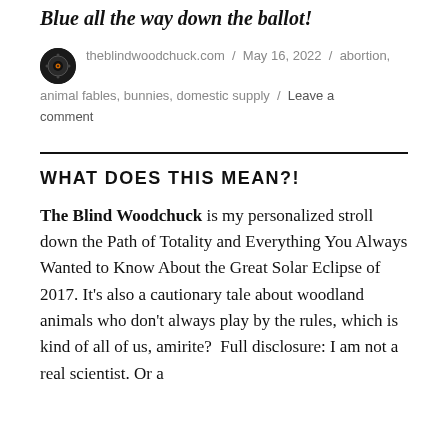Blue all the way down the ballot!
theblindwoodchuck.com / May 16, 2022 / abortion, animal fables, bunnies, domestic supply / Leave a comment
WHAT DOES THIS MEAN?!
The Blind Woodchuck is my personalized stroll down the Path of Totality and Everything You Always Wanted to Know About the Great Solar Eclipse of 2017. It's also a cautionary tale about woodland animals who don't always play by the rules, which is kind of all of us, amirite?  Full disclosure: I am not a real scientist. Or a